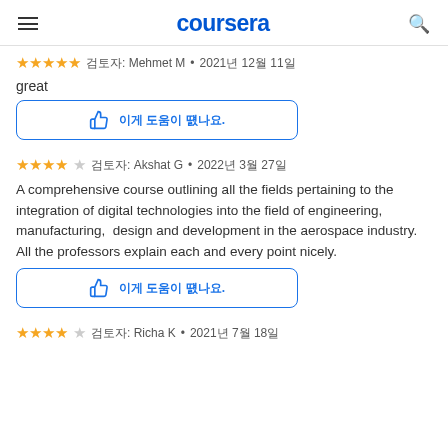coursera
★★★★★ 검토자: Mehmet M • 2021년 12월 11일
great
이게 도움이 됐나요?.
★★★★☆ 검토자: Akshat G • 2022년 3월 27일
A comprehensive course outlining all the fields pertaining to the integration of digital technologies into the field of engineering, manufacturing, design and development in the aerospace industry. All the professors explain each and every point nicely.
이게 도움이 됐나요?.
★★★★☆ 검토자: Richa K • 2021년 7월 18일